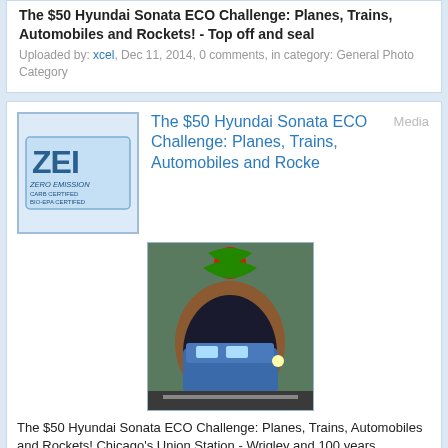The $50 Hyundai Sonata ECO Challenge: Planes, Trains, Automobiles and Rockets! - Top off and seal
Uploaded by: xcel, Dec 11, 2014, 0 comments, in category: General Photo Category
The $50 Hyundai Sonata ECO Challenge: Planes, Trains, Automobiles and Rocke
[Figure (photo): Photo thumbnail showing a train in a tunnel with decorative holiday display]
The $50 Hyundai Sonata ECO Challenge: Planes, Trains, Automobiles and Rockets! Chicago's Union Station - Wrigley and 100 years.
Uploaded by: xcel, Dec 11, 2014, 0 comments, in category: General Photo Category
The $50 Hyundai Sonata ECO Challenge: Planes, Trains, Automobiles and Rocke
[Figure (photo): Photo thumbnail showing a train at night at a station platform]